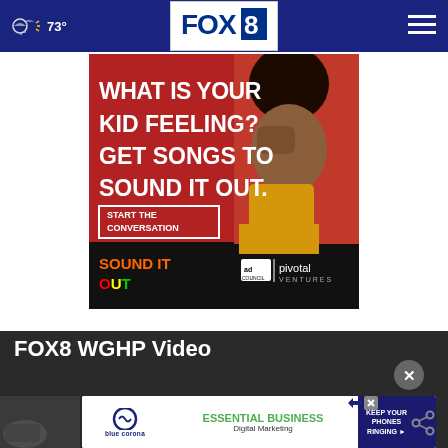FOX 8 | 73° weather | navigation menu
[Figure (photo): Advertisement: 'WHAT IS YOUR KID FEELING? GET SONGS TO SOUND IT OUT. START THE CONVERSATION' - Sound It Out campaign by Ad Council and Pivotal Ventures, featuring a young woman covering one eye with her hand against a red background.]
FOX8 WGHP Video
[Figure (screenshot): Blue Corona advertisement: ESSENTIAL BUSINESS Digital Marketing - KEEP YOUR PHONES RINGING]